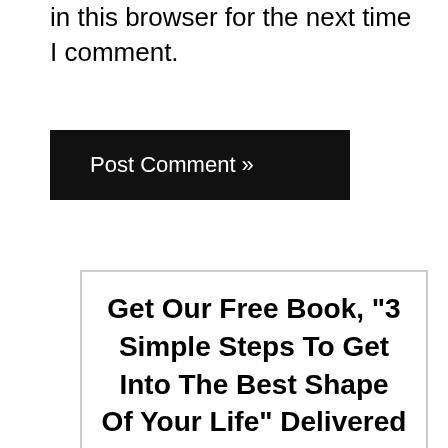in this browser for the next time I comment.
[Figure (other): Black 'Post Comment »' button]
Get Our Free Book, "3 Simple Steps To Get Into The Best Shape Of Your Life" Delivered To